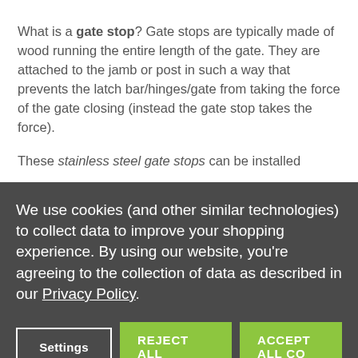What is a gate stop? Gate stops are typically made of wood running the entire length of the gate. They are attached to the jamb or post in such a way that prevents the latch bar/hinges/gate from taking the force of the gate closing (instead the gate stop takes the force).
These stainless steel gate stops can be installed
We use cookies (and other similar technologies) to collect data to improve your shopping experience. By using our website, you're agreeing to the collection of data as described in our Privacy Policy.
Settings | REJECT ALL | ACCEPT ALL CO